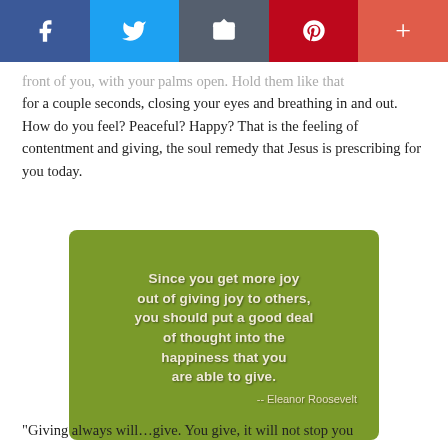[Figure (other): Social media share bar with Facebook, Twitter, Email, Pinterest, and More buttons]
front of you, with your palms open. Hold them like that for a couple seconds, closing your eyes and breathing in and out. How do you feel? Peaceful? Happy? That is the feeling of contentment and giving, the soul remedy that Jesus is prescribing for you today.
[Figure (illustration): Green quote image with text: 'Since you get more joy out of giving joy to others, you should put a good deal of thought into the happiness that you are able to give. -- Eleanor Roosevelt']
"Giving always will…give. You give, it will not stop you